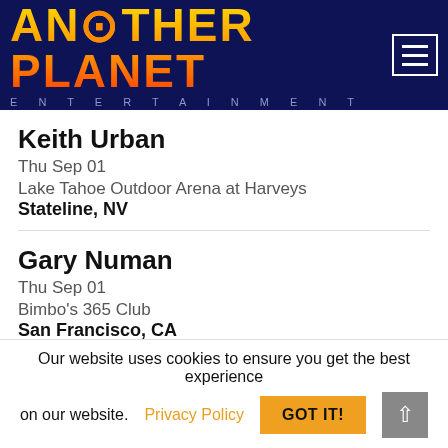[Figure (logo): Another Planet Entertainment logo — stylized text in orange/gold gradient with planet graphic, on dark navy background, with hamburger menu icon top right]
Keith Urban
Thu Sep 01
Lake Tahoe Outdoor Arena at Harveys
Stateline, NV
Gary Numan
Thu Sep 01
Bimbo's 365 Club
San Francisco, CA
Keith Urban
Fri Sep 02
Our website uses cookies to ensure you get the best experience on our website. Privacy Policy  GOT IT!